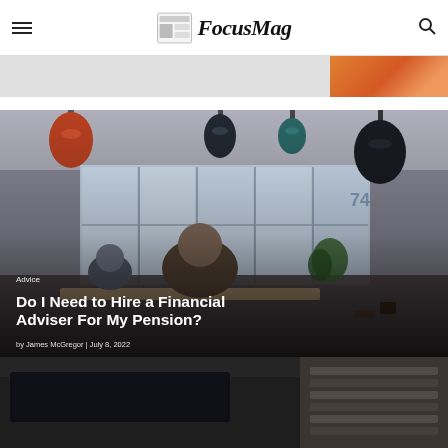FocusMag
[Figure (photo): Partial top banner image with orange/warm tones on right side]
[Figure (photo): Cafe interior with people seated at tables, pendant lamps hanging from ceiling, large windows in background. Article hero image for financial advice article.]
Advice
Do I Need to Hire a Financial Adviser For My Pension?
by James McGregor  |  July 8, 2022
[Figure (photo): Bottom partial image strip showing dark tones, partial view of a device or surface]